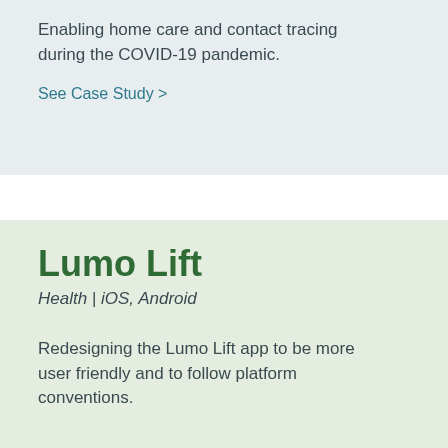Enabling home care and contact tracing during the COVID-19 pandemic.
See Case Study >
Lumo Lift
Health | iOS, Android
Redesigning the Lumo Lift app to be more user friendly and to follow platform conventions.